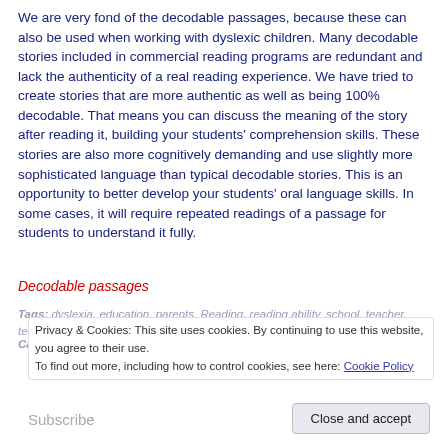We are very fond of the decodable passages, because these can also be used when working with dyslexic children. Many decodable stories included in commercial reading programs are redundant and lack the authenticity of a real reading experience. We have tried to create stories that are more authentic as well as being 100% decodable. That means you can discuss the meaning of the story after reading it, building your students' comprehension skills. These stories are also more cognitively demanding and use slightly more sophisticated language than typical decodable stories. This is an opportunity to better develop your students' oral language skills. In some cases, it will require repeated readings of a passage for students to understand it fully.
Decodable passages
Tags: dyslexia, education, parents, Reading, reading ability, school, teacher, teaching
Category: Dyslexia, News
Privacy & Cookies: This site uses cookies. By continuing to use this website, you agree to their use. To find out more, including how to control cookies, see here: Cookie Policy
Subscribe
Close and accept